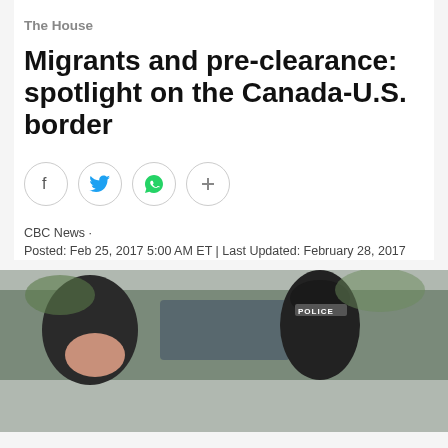The House
Migrants and pre-clearance: spotlight on the Canada-U.S. border
[Figure (infographic): Social sharing icons: Facebook, Twitter, WhatsApp, and a plus/more button, each in a circle]
CBC News ·
Posted: Feb 25, 2017 5:00 AM ET | Last Updated: February 28, 2017
[Figure (photo): A woman covering her face with her hand next to a police officer wearing a black beanie hat with POLICE written on it, near a vehicle. Outdoor scene.]